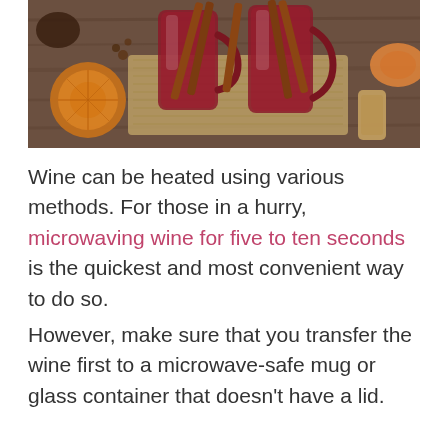[Figure (photo): Photo of mulled wine in glass mugs with cinnamon sticks, dried orange slices, spices, and a cork on a wooden surface]
Wine can be heated using various methods. For those in a hurry, microwaving wine for five to ten seconds is the quickest and most convenient way to do so.
However, make sure that you transfer the wine first to a microwave-safe mug or glass container that doesn't have a lid.